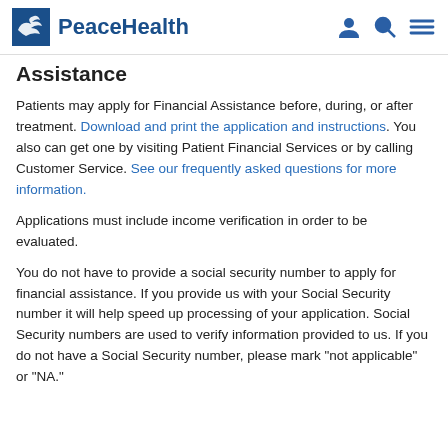PeaceHealth
Assistance
Patients may apply for Financial Assistance before, during, or after treatment. Download and print the application and instructions. You also can get one by visiting Patient Financial Services or by calling Customer Service. See our frequently asked questions for more information.
Applications must include income verification in order to be evaluated.
You do not have to provide a social security number to apply for financial assistance. If you provide us with your Social Security number it will help speed up processing of your application. Social Security numbers are used to verify information provided to us. If you do not have a Social Security number, please mark "not applicable" or "NA."